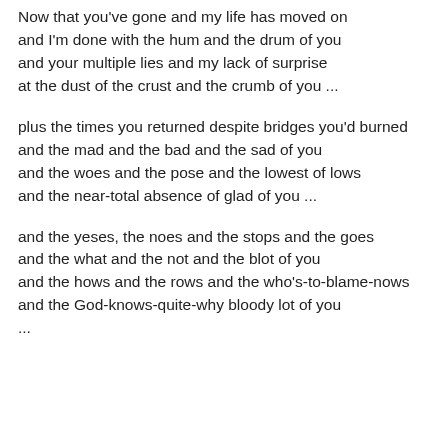Now that you've gone and my life has moved on
and I'm done with the hum and the drum of you
and your multiple lies and my lack of surprise
at the dust of the crust and the crumb of you ...
plus the times you returned despite bridges you'd burned
and the mad and the bad and the sad of you
and the woes and the pose and the lowest of lows
and the near-total absence of glad of you ...
and the yeses, the noes and the stops and the goes
and the what and the not and the blot of you
and the hows and the rows and the who's-to-blame-nows
and the God-knows-quite-why bloody lot of you
...